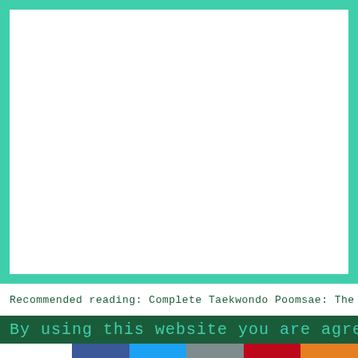[Figure (other): Teal/green bordered white rectangle area, appears to be an image placeholder or content area with a turquoise/mint green border surrounding a white inner region.]
Recommended reading: Complete Taekwondo Poomsae: The
By using this website you are agreeing
0
SHARES